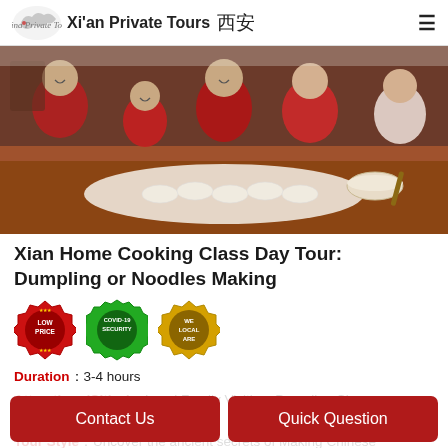Xi'an Private Tours
[Figure (photo): A family in red traditional Chinese clothing making dumplings together around a table covered with dumplings, smiling and laughing.]
Xian Home Cooking Class Day Tour: Dumpling or Noodles Making
[Figure (infographic): Three badge icons: LOW PRICE (red), COVID-19 SECURITY (green), WE ARE LOCAL (gold/yellow)]
Duration：3-4 hours
Attractions(Cities)：Local Family Visiting, Dumpling Class or Noodles Class
Tour Style：Uncover the ancient secrets of Making Chinese Dumpling or Noodles...